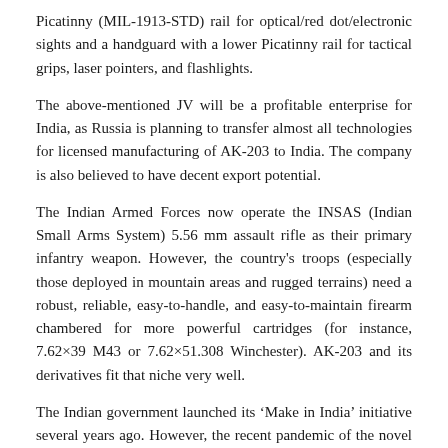Picatinny (MIL-1913-STD) rail for optical/red dot/electronic sights and a handguard with a lower Picatinny rail for tactical grips, laser pointers, and flashlights.
The above-mentioned JV will be a profitable enterprise for India, as Russia is planning to transfer almost all technologies for licensed manufacturing of AK-203 to India. The company is also believed to have decent export potential.
The Indian Armed Forces now operate the INSAS (Indian Small Arms System) 5.56 mm assault rifle as their primary infantry weapon. However, the country's troops (especially those deployed in mountain areas and rugged terrains) need a robust, reliable, easy-to-handle, and easy-to-maintain firearm chambered for more powerful cartridges (for instance, 7.62×39 M43 or 7.62×51.308 Winchester). AK-203 and its derivatives fit that niche very well.
The Indian government launched its ‘Make in India’ initiative several years ago. However, the recent pandemic of the novel coronavirus (Covid-19) has stressed the importance of in-house production. The JV will establish a large number of jobs and increase the capacities of the Indian defense industry.